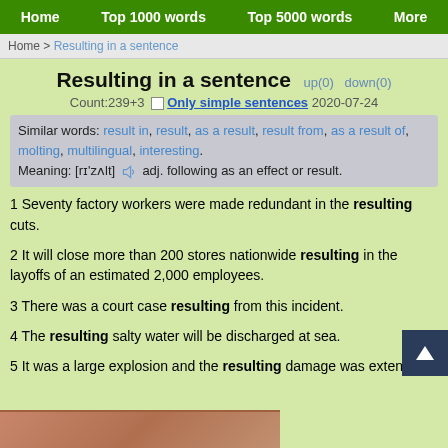Home | Top 1000 words | Top 5000 words | More
Home > Resulting in a sentence
Resulting in a sentence up(0) down(0)
Count:239+3 □ Only simple sentences 2020-07-24
Similar words: result in, result, as a result, result from, as a result of, molting, multilingual, interesting.
Meaning: [rɪ'zʌlt] adj. following as an effect or result.
1 Seventy factory workers were made redundant in the resulting cuts.
2 It will close more than 200 stores nationwide resulting in the layoffs of an estimated 2,000 employees.
3 There was a court case resulting from this incident.
4 The resulting salty water will be discharged at sea.
5 It was a large explosion and the resulting damage was extensive.
[Figure (photo): Bottom partial image, appears to be a textured reddish-brown surface]